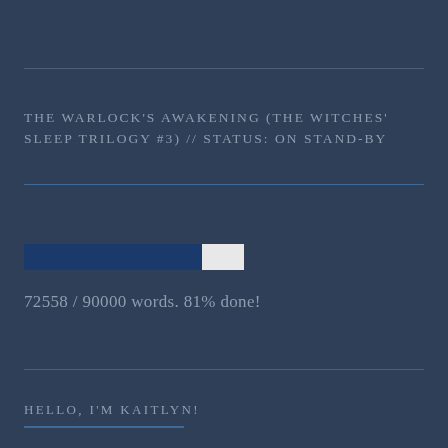THE WARLOCK'S AWAKENING (THE WITCHES' SLEEP TRILOGY #3) // STATUS: ON STAND-BY
[Figure (other): Progress bar showing 81% completion: dark blue filled portion and white/light goal portion]
72558 / 90000 words. 81% done!
HELLO, I'M KAITLYN!